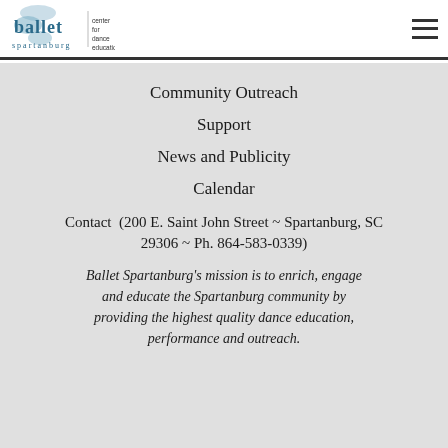ballet spartanburg — center for dance education
Community Outreach
Support
News and Publicity
Calendar
Contact  (200 E. Saint John Street ~ Spartanburg, SC 29306 ~ Ph. 864-583-0339)
Ballet Spartanburg's mission is to enrich, engage and educate the Spartanburg community by providing the highest quality dance education, performance and outreach.